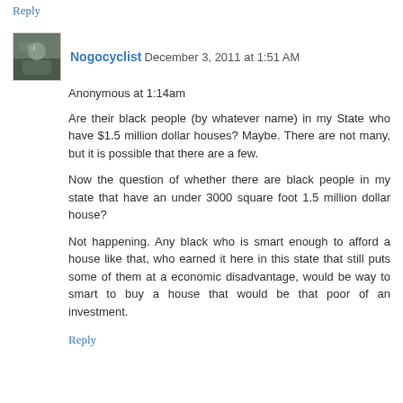Reply
Nogocyclist  December 3, 2011 at 1:51 AM
Anonymous at 1:14am
Are their black people (by whatever name) in my State who have $1.5 million dollar houses? Maybe. There are not many, but it is possible that there are a few.
Now the question of whether there are black people in my state that have an under 3000 square foot 1.5 million dollar house?
Not happening. Any black who is smart enough to afford a house like that, who earned it here in this state that still puts some of them at a economic disadvantage, would be way to smart to buy a house that would be that poor of an investment.
Reply